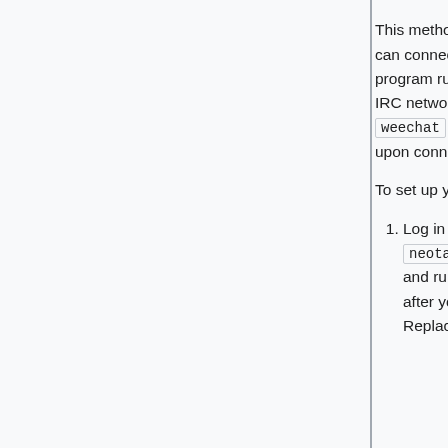This method will establish a persistent IRC session that you can connect to with different clients. A weechat server program running on a CSClub server will remain connected to IRC networks at all times, and simply connecting to your weechat server program will give you all the chat history upon connection.
To set up your weechat server program:
Log in to a CS Club general-use server, such as neotame.csclub.uwaterloo.ca and run weechat in such a way that it will keep running after you log out. Replace ctdalek with your username: